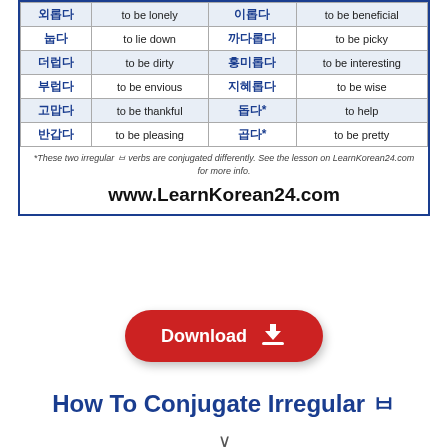| 외롭다 | to be lonely | 이롭다 | to be beneficial |
| 눕다 | to lie down | 까다롭다 | to be picky |
| 더럽다 | to be dirty | 흥미롭다 | to be interesting |
| 부럽다 | to be envious | 지혜롭다 | to be wise |
| 고맙다 | to be thankful | 돕다* | to help |
| 반갑다 | to be pleasing | 곱다* | to be pretty |
*These two irregular ㅂ verbs are conjugated differently. See the lesson on LearnKorean24.com for more info.
www.LearnKorean24.com
[Figure (other): Red rounded download button with download icon]
How To Conjugate Irregular ㅂ